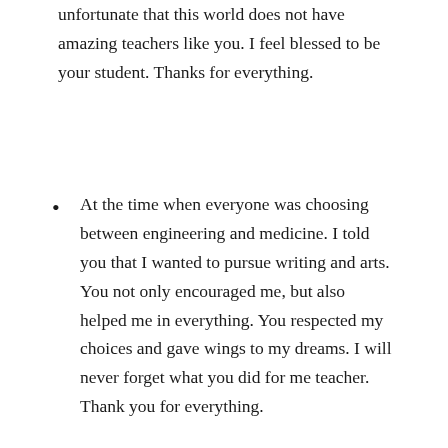unfortunate that this world does not have amazing teachers like you. I feel blessed to be your student. Thanks for everything.
At the time when everyone was choosing between engineering and medicine. I told you that I wanted to pursue writing and arts. You not only encouraged me, but also helped me in everything. You respected my choices and gave wings to my dreams. I will never forget what you did for me teacher. Thank you for everything.